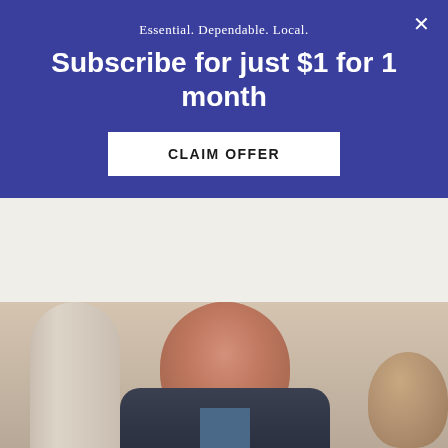Essential. Dependable. Local.
Subscribe for just $1 for 1 month
CLAIM OFFER
[Figure (photo): A bald man in a dark suit with a blue shirt speaking, with a woman visible behind him to the right, set against an architectural background with arched columns]